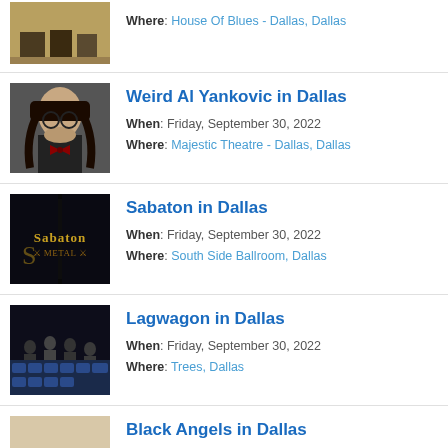Where: House Of Blues - Dallas, Dallas
Weird Al Yankovic in Dallas | When: Friday, September 30, 2022 | Where: Majestic Theatre - Dallas, Dallas
Sabaton in Dallas | When: Friday, September 30, 2022 | Where: South Side Ballroom, Dallas
Lagwagon in Dallas | When: Friday, September 30, 2022 | Where: Trees, Dallas
Black Angels in Dallas | When: Friday, September 30, 2022 | Where: Granada Theater - Dallas, Dallas